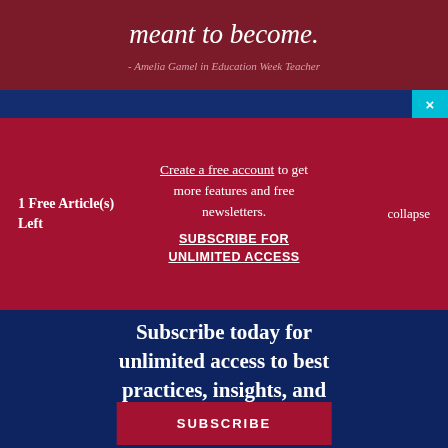meant to become.
- Amelia Gamel in Education Week Teacher
1 Free Article(s) Left
Create a free account to get more features and free newsletters.
SUBSCRIBE FOR UNLIMITED ACCESS
collapse
Subscribe today for unlimited access to best practices, insights, and solutions.
SUBSCRIBE